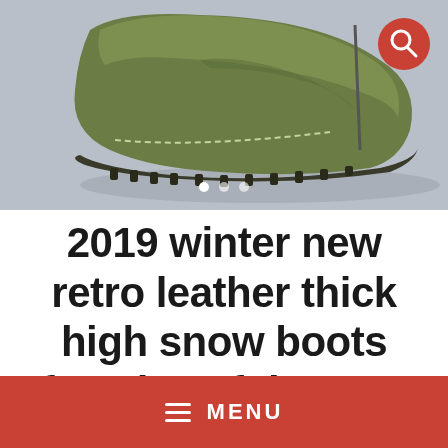[Figure (photo): A green/olive suede snow boot photographed on a light gray surface, viewed from the side/top. The boot has a chunky rubber sole with visible stitching details. Three white dot indicators are visible at the bottom of the image, and a red circular search button is in the top right corner.]
2019 winter new retro leather thick high snow boots female soft bottom cotton boots wild
≡  MENU